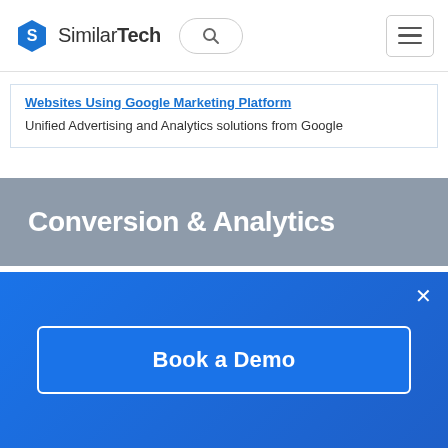[Figure (logo): SimilarTech logo with hexagon icon and search bar and hamburger menu in navigation bar]
Websites Using Google Marketing Platform
Unified Advertising and Analytics solutions from Google
Conversion & Analytics
[Figure (illustration): Orange background product card with white hexagon Google Analytics-style icon showing line/area chart]
[Figure (infographic): Blue CTA overlay with close X button and Book a Demo button]